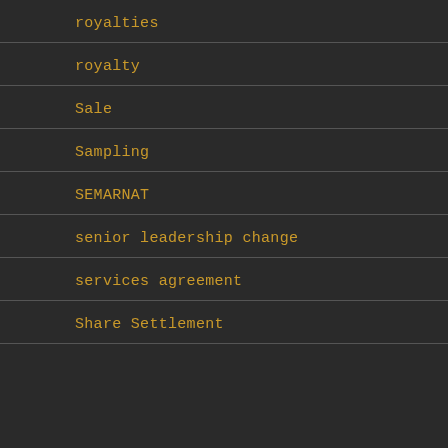royalties
royalty
Sale
Sampling
SEMARNAT
senior leadership change
services agreement
Share Settlement